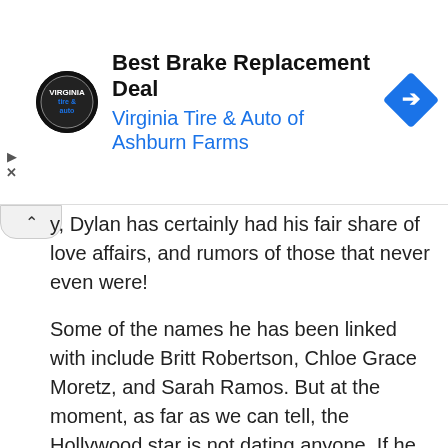[Figure (other): Advertisement banner for Virginia Tire & Auto of Ashburn Farms - Best Brake Replacement Deal, with circular logo, blue text link, and blue diamond navigation icon]
y, Dylan has certainly had his fair share of love affairs, and rumors of those that never even were!
Some of the names he has been linked with include Britt Robertson, Chloe Grace Moretz, and Sarah Ramos. But at the moment, as far as we can tell, the Hollywood star is not dating anyone. If he is, then he has gone at length to keep it away from the public.